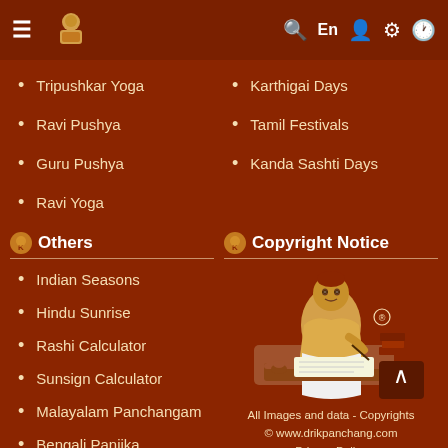Navigation bar with hamburger menu, logo, search, En, user, settings, clock icons
Tripushkar Yoga
Ravi Pushya
Guru Pushya
Ravi Yoga
Karthigai Days
Tamil Festivals
Kanda Sashti Days
Others
Copyright Notice
Indian Seasons
Hindu Sunrise
Rashi Calculator
Sunsign Calculator
Malayalam Panchangam
Bengali Panjika
[Figure (illustration): Illustration of a Hindu pandit/scholar sitting and writing on a wooden desk, with a registered trademark symbol]
All Images and data - Copyrights © www.drikpanchang.com
Privacy Policy